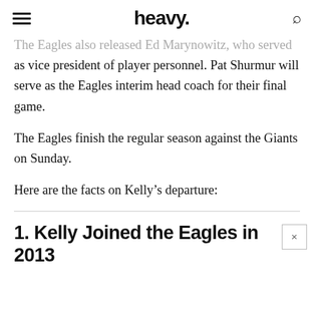heavy.
The Eagles also released Ed Marynowitz, who served as vice president of player personnel. Pat Shurmur will serve as the Eagles interim head coach for their final game.
The Eagles finish the regular season against the Giants on Sunday.
Here are the facts on Kelly's departure:
1. Kelly Joined the Eagles in 2013